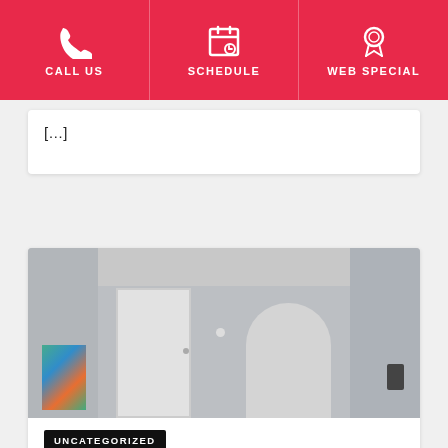CALL US | SCHEDULE | WEB SPECIAL
[...]
[Figure (photo): Interior room photo showing gray walls, white door, arched hallway, decorative artwork on wall, and a ceiling light fixture]
UNCATEGORIZED
We did it! We're online!